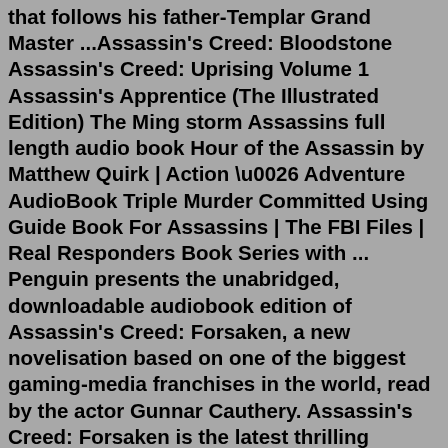that follows his father-Templar Grand Master ...Assassin's Creed: Bloodstone Assassin's Creed: Uprising Volume 1 Assassin's Apprentice (The Illustrated Edition) The Ming storm Assassins full length audio book Hour of the Assassin by Matthew Quirk | Action \u0026 Adventure AudioBook Triple Murder Committed Using Guide Book For Assassins | The FBI Files | Real Responders Book Series with ... Penguin presents the unabridged, downloadable audiobook edition of Assassin's Creed: Forsaken, a new novelisation based on one of the biggest gaming-media franchises in the world, read by the actor Gunnar Cauthery. Assassin's Creed: Forsaken is the latest thrilling novelisation by Oliver Bowden based on the phenomenally successful game series ... All about Assassin's Creed: Forsaken by Oliver Bowden. LibraryThing is a cataloging and social networking site for booklovers ... CD Audiobook (0 editions) Project ... Assassin's Creed: Revelations ( Assassin's Creed #4 ) by Oliver Bowden Audiobook FullAssassins creed III forsaken book. Books so